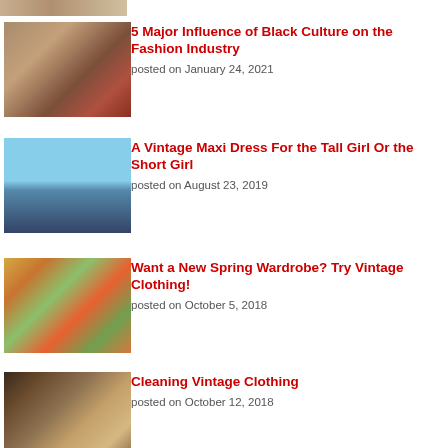[Figure (photo): Partial top image of fashion people, cropped at top of page]
[Figure (photo): Three people in fashionable outfits representing Black culture influence on fashion]
5 Major Influence of Black Culture on the Fashion Industry
posted on January 24, 2021
[Figure (photo): Woman in vintage maxi dress posing near a lake]
A Vintage Maxi Dress For the Tall Girl Or the Short Girl
posted on August 23, 2019
[Figure (photo): Colorful vintage clothing hanging on a rack]
Want a New Spring Wardrobe? Try Vintage Clothing!
posted on October 5, 2018
[Figure (photo): Vintage coats and clothing displayed on hangers]
Cleaning Vintage Clothing
posted on October 12, 2018